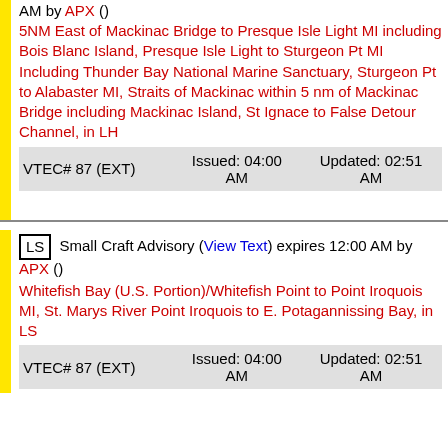AM by APX ()
5NM East of Mackinac Bridge to Presque Isle Light MI including Bois Blanc Island, Presque Isle Light to Sturgeon Pt MI Including Thunder Bay National Marine Sanctuary, Sturgeon Pt to Alabaster MI, Straits of Mackinac within 5 nm of Mackinac Bridge including Mackinac Island, St Ignace to False Detour Channel, in LH
| VTEC# 87 (EXT) | Issued: 04:00 AM | Updated: 02:51 AM |
| --- | --- | --- |
LS  Small Craft Advisory (View Text) expires 12:00 AM by APX ()
Whitefish Bay (U.S. Portion)/Whitefish Point to Point Iroquois MI, St. Marys River Point Iroquois to E. Potagannissing Bay, in LS
| VTEC# 87 (EXT) | Issued: 04:00 AM | Updated: 02:51 AM |
| --- | --- | --- |